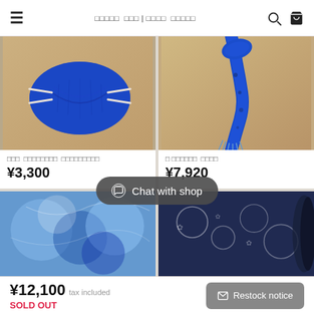≡  □□□□□  □□□ | □□□□  □□□□□  🔍  🛒
[Figure (photo): Blue fabric face mask on a wooden surface]
□□□  □□□□□□□□  □□□□□□□□□
¥3,300
[Figure (photo): Blue tie-dye scarf on wooden surface]
□ □□□□□□  □□□□
¥7,920
[Figure (photo): Blue tie-dye fabric item, bottom left product]
[Figure (photo): Dark navy blue fabric/textile item, bottom right product]
Chat with shop
¥12,100 tax included
SOLD OUT
Restock notice